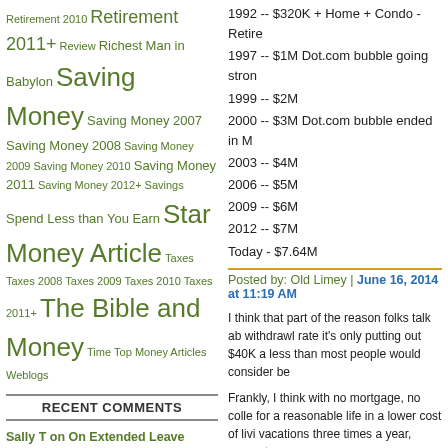Retirement 2010 Retirement 2011+ Review Richest Man in Babylon Saving Money Saving Money 2007 Saving Money 2008 Saving Money 2009 Saving Money 2010 Saving Money 2011 Saving Money 2012+ Savings Spend Less than You Earn Star Money Article Taxes Taxes 2008 Taxes 2009 Taxes 2010 Taxes 2011+ The Bible and Money Time Top Money Articles Weblogs
RECENT COMMENTS
Sally T on On Extended Leave
Sally T on How To Tithe Correctly And Still Get Wealthy
Sally on Six Reasons Why You Shouldn't Take FIRE Too Far
Sally T on Robo-Advisors vs Online Brokers
digital marketing on 5 Things Business Owners Can Learn From the FIRE Movement
1992 -- $320K + Home + Condo - Retire
1997 -- $1M Dot.com bubble going stron
1999 -- $2M
2000 -- $3M Dot.com bubble ended in M
2003 -- $4M
2006 -- $5M
2009 -- $6M
2012 -- $7M
Today - $7.64M
Posted by: Old Limey | June 16, 2014 at 11:19 AM
I think that part of the reason folks talk ab withdrawl rate it's only putting out $40K a less than most people would consider be
Frankly, I think with no mortgage, no colle for a reasonable life in a lower cost of livi vacations three times a year, support my
Guess that's the difference between thin
Posted by: getagrin | June 16, 2014 at 11:27 AM